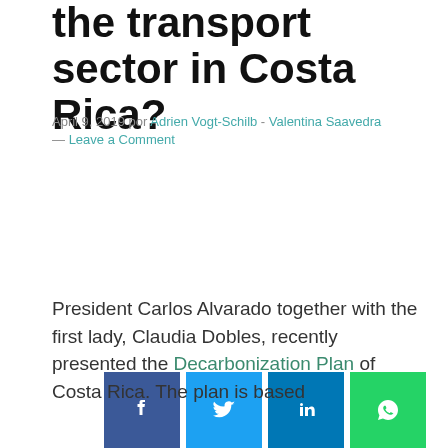the transport sector in Costa Rica?
April 9, 2019 por Adrien Vogt-Schilb - Valentina Saavedra — Leave a Comment
[Figure (infographic): Social media sharing buttons: Facebook, Twitter, LinkedIn, WhatsApp]
President Carlos Alvarado together with the first lady, Claudia Dobles, recently presented the Decarbonization Plan of Costa Rica. The plan is based
This site uses cookies to optimize functionality and give you the best possible experience. If you continue to navigate this website beyond this page, cookies will be placed on your browser. To learn more about cookies, click here